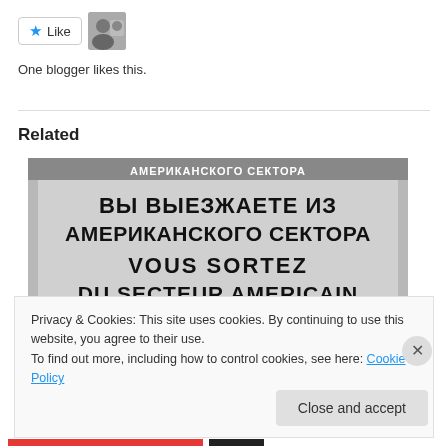[Figure (other): Like button with star icon and avatar photo of a person]
One blogger likes this.
Related
[Figure (photo): Black and white photo of Checkpoint Charlie sign in Berlin reading: ВЫ ВЫЕЗЖАЕТЕ ИЗ АМЕРИКАНСКОГО СЕКТОРА / VOUS SORTEZ DU SECTEUR AMERICAIN / SIE VERLASSEN DEN AMERIKANISCHEN SEKTOR]
Privacy & Cookies: This site uses cookies. By continuing to use this website, you agree to their use.
To find out more, including how to control cookies, see here: Cookie Policy
Close and accept